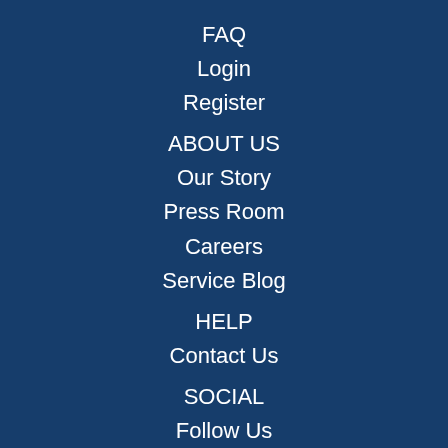FAQ
Login
Register
ABOUT US
Our Story
Press Room
Careers
Service Blog
HELP
Contact Us
SOCIAL
Follow Us